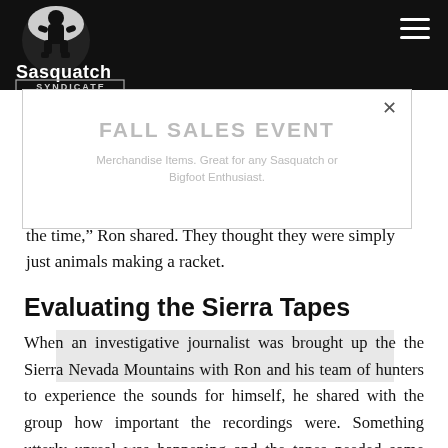Sasquatch Syndicate
[Figure (logo): Sasquatch Syndicate logo — circular emblem with bigfoot silhouette against moon, text 'Sasquatch SYNDICATE' below]
the time,” Ron shared. They thought they were simply just animals making a racket.
[Figure (other): Ad overlay banner reading 'FALL SALES EVENT' with subtext 'Merchandise Items. Great for any Sasquatch or Bigfoot Enthusiast.' with an X close button]
Evaluating the Sierra Tapes
When an investigative journalist was brought up the the Sierra Nevada Mountains with Ron and his team of hunters to experience the sounds for himself, he shared with the group how important the recordings were. Something utterly unreal was happening and the tapes needed some credibility.